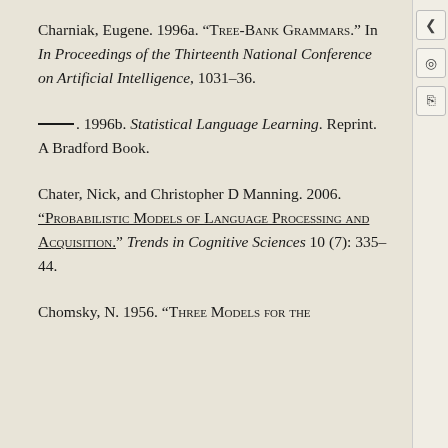Charniak, Eugene. 1996a. “Tree-Bank Grammars.” In In Proceedings of the Thirteenth National Conference on Artificial Intelligence, 1031–36.
———. 1996b. Statistical Language Learning. Reprint. A Bradford Book.
Chater, Nick, and Christopher D Manning. 2006. “Probabilistic Models of Language Processing and Acquisition.” Trends in Cognitive Sciences 10 (7): 335–44.
Chomsky, N. 1956. “Three Models for the